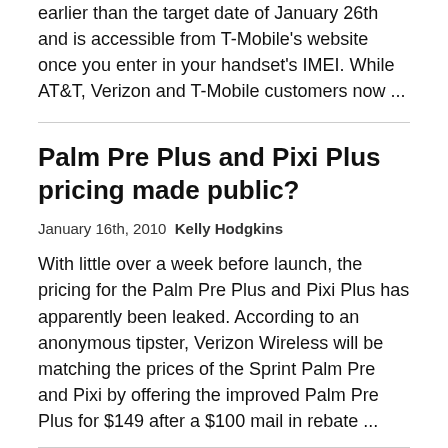earlier than the target date of January 26th and is accessible from T-Mobile's website once you enter in your handset's IMEI. While AT&T, Verizon and T-Mobile customers now ...
Palm Pre Plus and Pixi Plus pricing made public?
January 16th, 2010 Kelly Hodgkins
With little over a week before launch, the pricing for the Palm Pre Plus and Pixi Plus has apparently been leaked. According to an anonymous tipster, Verizon Wireless will be matching the prices of the Sprint Palm Pre and Pixi by offering the improved Palm Pre Plus for $149 after a $100 mail in rebate ...